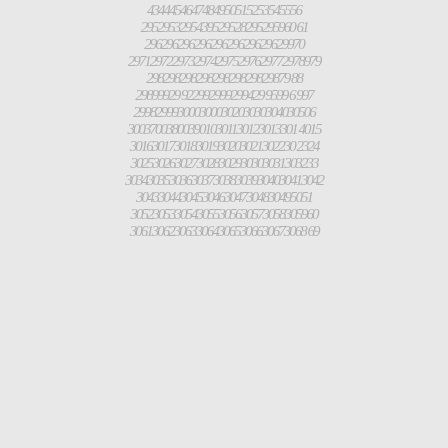...4344454647484950515253545556...
2952 2953 2954 2955 2956 2957 2958 2959 2960 61
2962 2963 2964 2965 2966 2967 2968 2969 2970
2971 2972 2973 2974 2975 2976 2977 2978 2979
2981 2982 2983 2984 2985 2986 2987 2988
2989 2990 2991 2992 2993 2994 2995 2996 2997
2998 2999 3000 3001 3002 3003 3004 3005 3006
3007 3008 3009 3010 3011 3012 3013 3014 3015
3016 3017 3018 3019 3020 3021 3022 3023 3024
3025 3026 3027 3028 3029 3030 3031 3032 3033
3034 3035 3036 3037 3038 3039 3040 3041 3042
3043 3044 3045 3046 3047 3048 3049 3050 51
3052 3053 3054 3055 3056 3057 3058 3059 3060
3061 3062 3063 3064 3065 3066 3067 3068 3069